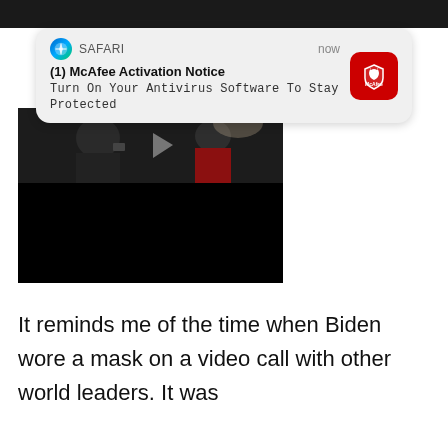[Figure (screenshot): Safari browser notification banner: '(1) McAfee Activation Notice — Turn On Your Antivirus Software To Stay Protected', with McAfee red icon on the right and 'now' timestamp. Below is a video screenshot showing people in a dark setting, partially obscured.]
It reminds me of the time when Biden wore a mask on a video call with other world leaders. It was